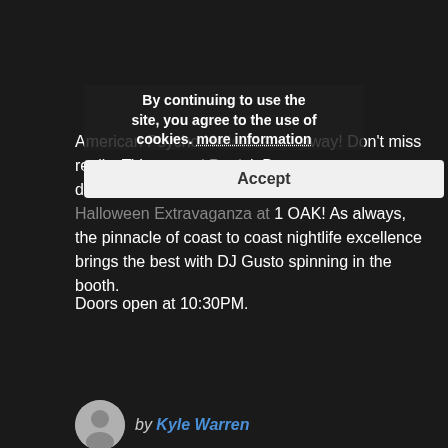By continuing to use the site, you agree to the use of cookies. more information
Accept
American Psycho Halloween ... weeks away! Don't miss reality TV star and Patrick Bateman lookalike/doppelganger Scott Disick's "American Psycho" Halloween Extravaganza at 1 OAK! As always, the pinnacle of coast to coast nightlife excellence brings the best with DJ Gusto spinning in the booth.
Doors open at 10:30PM.
by Kyle Warren
Las Vegas Activities / Las Vegas Events / Las Vegas Nightclubs
1 OAK Las Vegas / Las Vegas clubs / Las Vegas Events / Las Vegas Halloween / Las Vegas Nightclubs / Las Vegas Nightlife / Vegas Halloween / Vegas Nightlife